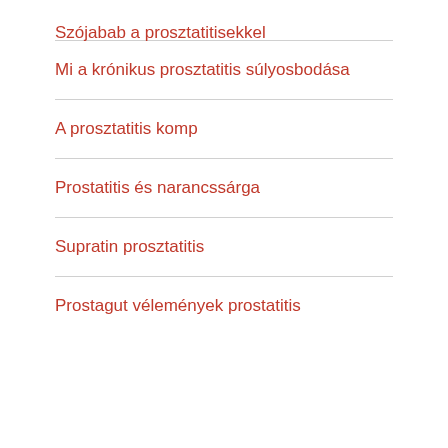Szójabab a prosztatitisekkel
Mi a krónikus prosztatitis súlyosbodása
A prosztatitis komp
Prostatitis és narancssárga
Supratin prosztatitis
Prostagut vélemények prostatitis